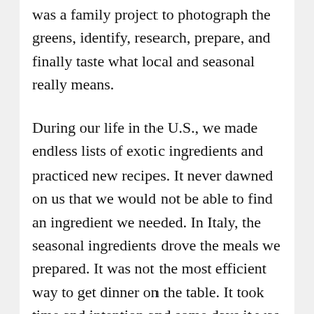was a family project to photograph the greens, identify, research, prepare, and finally taste what local and seasonal really means.
During our life in the U.S., we made endless lists of exotic ingredients and practiced new recipes. It never dawned on us that we would not be able to find an ingredient we needed. In Italy, the seasonal ingredients drove the meals we prepared. It was not the most efficient way to get dinner on the table. It took time and intention and some days it was tiring but it never failed to fuel our bodies.
Shortly after our arrival back in the States, we noticed our systems were experiencing culture